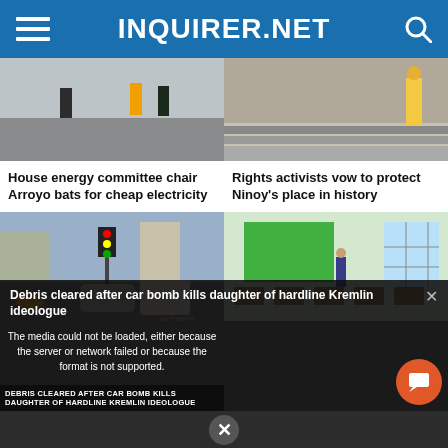INQUIRER.NET
[Figure (photo): Workers or officers standing on a road/rail construction area]
[Figure (photo): Person standing in front of wall with posters/photos, outdoors steps]
House energy committee chair Arroyo bats for cheap electricity
Rights activists vow to protect Ninoy's place in history
[Figure (photo): Street intersection with cars, motorcycle, traffic lights, urban Philippines scene with INQUIRER watermark]
[Figure (photo): Empty classroom with desks, chairs, green chalkboard and fan]
MMDA lifts number
Space, time, funds: Test
Debris cleared after car bomb kills daughter of hardline Kremlin ideologue
The media could not be loaded, either because the server or network failed or because the format is not supported.
DEBRIS CLEARED AFTER CAR BOMB KILLS DAUGHTER OF HARDLINE KREMLIN IDEOLOGUE